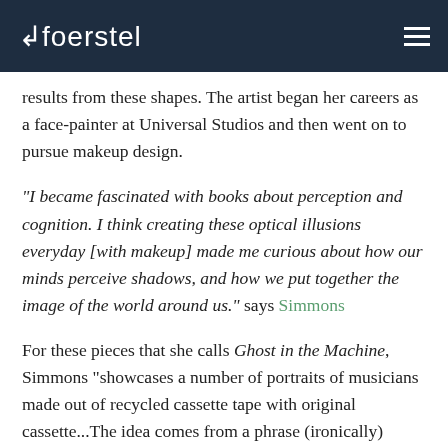foerstel
results from these shapes. The artist began her careers as a face-painter at Universal Studios and then went on to pursue makeup design.
"I became fascinated with books about perception and cognition. I think creating these optical illusions everyday [with makeup] made me curious about how our minds perceive shadows, and how we put together the image of the world around us." says Simmons
For these pieces that she calls Ghost in the Machine, Simmons "showcases a number of portraits of musicians made out of recycled cassette tape with original cassette...The idea comes from a phrase (ironically) coined by philosopher Gilbert Ryle